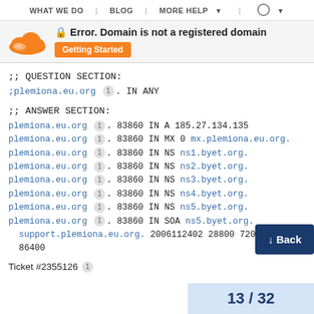WHAT WE DO | BLOG | MORE HELP | (globe)
[Figure (logo): Cloudflare orange cloud logo]
Error. Domain is not a registered domain
Getting Started
;; QUESTION SECTION:
;plemiona.eu.org 1 . IN ANY
;; ANSWER SECTION:
plemiona.eu.org 1 . 83860 IN A 185.27.134.135
plemiona.eu.org 1 . 83860 IN MX 0 mx.plemiona.eu.org.
plemiona.eu.org 1 . 83860 IN NS ns1.byet.org.
plemiona.eu.org 1 . 83860 IN NS ns2.byet.org.
plemiona.eu.org 1 . 83860 IN NS ns3.byet.org.
plemiona.eu.org 1 . 83860 IN NS ns4.byet.org.
plemiona.eu.org 1 . 83860 IN NS ns5.byet.org.
plemiona.eu.org 1 . 83860 IN SOA ns5.byet.org. support.plemiona.eu.org. 2006112402 28800 7200 604800 86400
Ticket #2355126 1
13 / 32